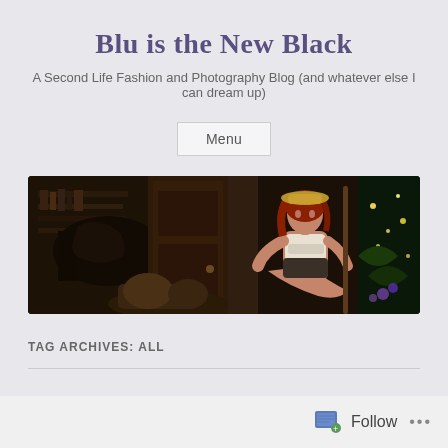Blu is the New Black
A Second Life Fashion and Photography Blog (and whatever else I can dream up)
Menu
[Figure (photo): Wide banner photo showing a Second Life avatar — a red-haired woman in a white crop top and hat, sitting among fantasy/rustic scenery with bookshelves, wooden structures, and sparkles]
TAG ARCHIVES: All
Follow